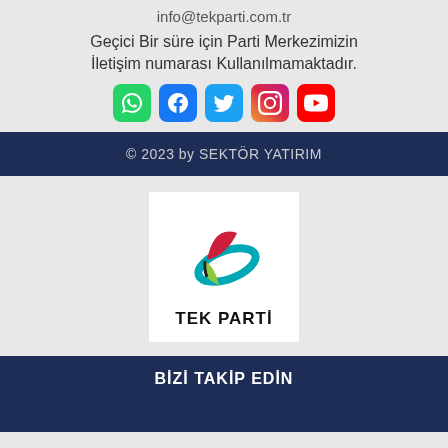info@tekparti.com.tr
Geçici Bir süre için Parti Merkezimizin İletişim numarası Kullanılmamaktadır.
[Figure (logo): Social media icons: WhatsApp, Facebook, Twitter, Instagram, YouTube]
© 2023 by SEKTÖR YATIRIM
[Figure (logo): TEK PARTİ logo — stylized butterfly/leaf shape in red, teal, and green with text TEK PARTİ below]
BİZİ TAKİP EDİN